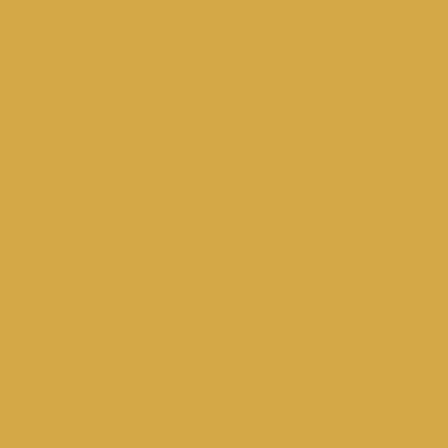Anyway, just w on my site f industry. Let t a year and bu the forum gr support your domains now into some of traffic etc. for
Check out my
Related Posts:
How to hav
[Figure (other): Red button element]
Tags: Google engine resul engine